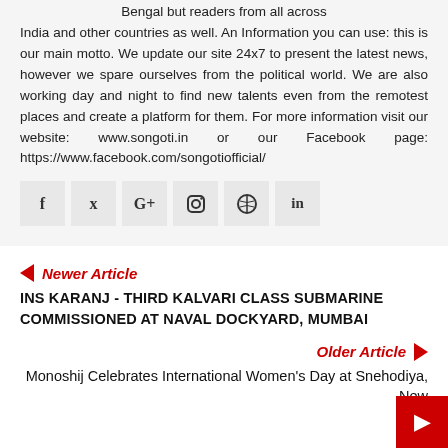not only for the readers from West Bengal but readers from all across India and other countries as well. An Information you can use: this is our main motto. We update our site 24x7 to present the latest news, however we spare ourselves from the political world. We are also working day and night to find new talents even from the remotest places and create a platform for them. For more information visit our website: www.songoti.in or our Facebook page: https://www.facebook.com/songotiofficial/
[Figure (other): Social media icons row: Facebook, Twitter, Google+, Instagram, Pinterest, LinkedIn]
Newer Article
INS KARANJ - THIRD KALVARI CLASS SUBMARINE COMMISSIONED AT NAVAL DOCKYARD, MUMBAI
Older Article
Monoshij Celebrates International Women's Day at Snehodiya, New